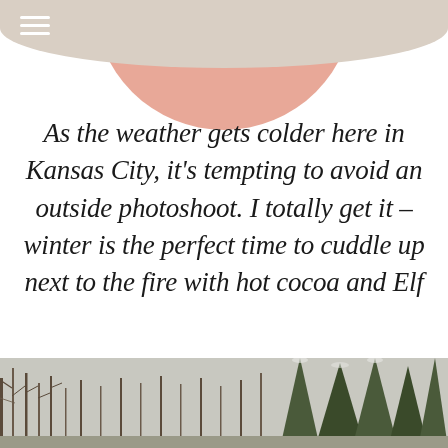[Figure (illustration): Pink semicircle/circle decorative element centered at top of page]
As the weather gets colder here in Kansas City, it's tempting to avoid an outside photoshoot. I totally get it – winter is the perfect time to cuddle up next to the fire with hot cocoa and Elf
OPEN POST
[Figure (photo): Winter outdoor scene showing bare trees and evergreen trees with snow, muted tones of brown, gray, and green]